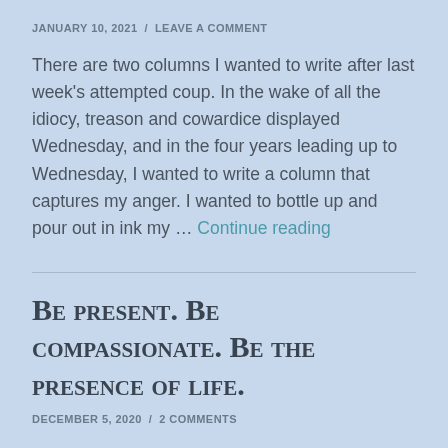JANUARY 10, 2021 / LEAVE A COMMENT
There are two columns I wanted to write after last week's attempted coup. In the wake of all the idiocy, treason and cowardice displayed Wednesday, and in the four years leading up to Wednesday, I wanted to write a column that captures my anger. I wanted to bottle up and pour out in ink my … Continue reading
Be present. Be compassionate. Be the presence of life.
DECEMBER 5, 2020 / 2 COMMENTS